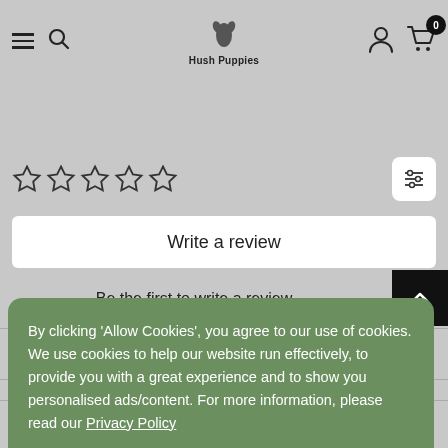Hush Puppies - hamburger menu, search, logo, user icon, cart (0)
[Figure (screenshot): Five empty star rating icons]
Write a review
Be the first to write a review
By clicking 'Allow Cookies', you agree to our use of cookies. We use cookies to help our website run effectively, to provide you with a great experience and to show you personalised ads/content. For more information, please read our Privacy Policy
Decline
Accept
CU
INF
MY ACCOUNT